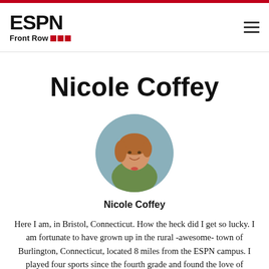ESPN Front Row
Nicole Coffey
[Figure (photo): Circular profile photo of Nicole Coffey, a woman with medium-length auburn hair wearing a green top, smiling at the camera against a colorful background.]
Nicole Coffey
Here I am, in Bristol, Connecticut. How the heck did I get so lucky. I am fortunate to have grown up in the rural -awesome- town of Burlington, Connecticut, located 8 miles from the ESPN campus. I played four sports since the fourth grade and found the love of broadcasting in high school when I was part of the